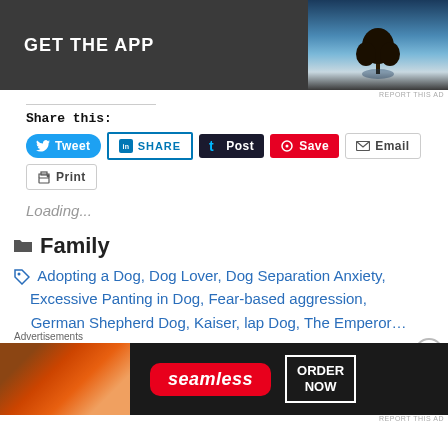[Figure (screenshot): GET THE APP advertisement banner with dark background and tree silhouette image on right]
REPORT THIS AD
Share this:
Tweet  SHARE  Post  Save  Email
Print
Loading...
Family
Adopting a Dog, Dog Lover, Dog Separation Anxiety, Excessive Panting in Dog, Fear-based aggression, German Shepherd Dog, Kaiser, lap Dog, The Emperor...
Advertisements
[Figure (screenshot): Seamless food delivery advertisement with pizza image and ORDER NOW button]